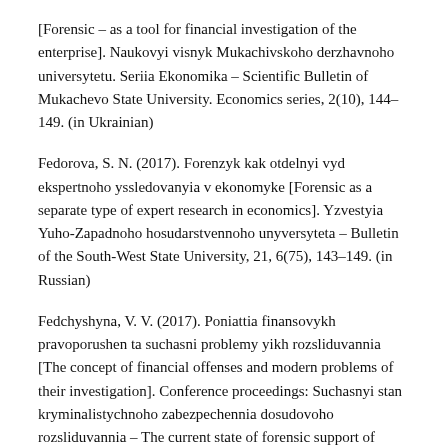[Forensic – as a tool for financial investigation of the enterprise]. Naukovyi visnyk Mukachivskoho derzhavnoho universytetu. Seriia Ekonomika – Scientific Bulletin of Mukachevo State University. Economics series, 2(10), 144–149. (in Ukrainian)
Fedorova, S. N. (2017). Forenzyk kak otdelnyi vyd ekspertnoho yssledovanyia v ekonomyke [Forensic as a separate type of expert research in economics]. Yzvestyia Yuho-Zapadnoho hosudarstvennoho unyversyteta – Bulletin of the South-West State University, 21, 6(75), 143–149. (in Russian)
Fedchyshyna, V. V. (2017). Poniattia finansovykh pravoporushen ta suchasni problemy yikh rozsliduvannia [The concept of financial offenses and modern problems of their investigation]. Conference proceedings: Suchasnyi stan kryminalistychnoho zabezpechennia dosudovoho rozsliduvannia – The current state of forensic support of